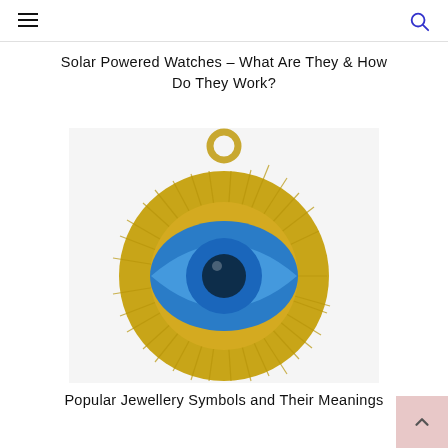≡  🔍
Solar Powered Watches – What Are They & How Do They Work?
[Figure (photo): Gold evil eye pendant charm with blue and dark blue enamel center, on white background]
Popular Jewellery Symbols and Their Meanings